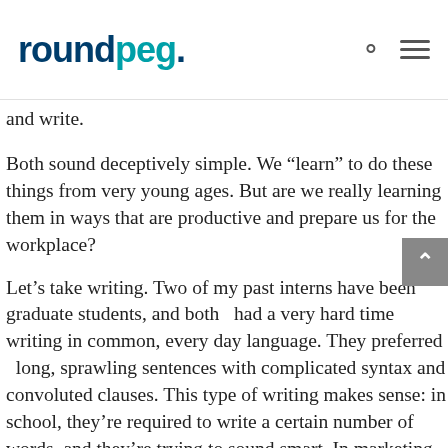roundpeg.
and write.
Both sound deceptively simple. We “learn” to do these things from very young ages. But are we really learning them in ways that are productive and prepare us for the workplace?
Let’s take writing. Two of my past interns have been graduate students, and both  had a very hard time writing in common, every day language. They preferred  long, sprawling sentences with complicated syntax and convoluted clauses. This type of writing makes sense: in school, they’re required to write a certain number of words, and they’re trying to sound smart. In marketing, things need to be short and to the point. They shouldn’t be long or complicated. Academic writing is the enemy of good (and engaging) writing.
And then there’s thinking. Time and time again, I see students flounder when not given exact directions to follow.